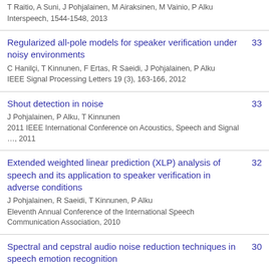T Raitio, A Suni, J Pohjalainen, M Airaksinen, M Vainio, P Alku
Interspeech, 1544-1548, 2013
Regularized all-pole models for speaker verification under noisy environments
C Hanilçi, T Kinnunen, F Ertas, R Saeidi, J Pohjalainen, P Alku
IEEE Signal Processing Letters 19 (3), 163-166, 2012
33
Shout detection in noise
J Pohjalainen, P Alku, T Kinnunen
2011 IEEE International Conference on Acoustics, Speech and Signal …, 2011
33
Extended weighted linear prediction (XLP) analysis of speech and its application to speaker verification in adverse conditions
J Pohjalainen, R Saeidi, T Kinnunen, P Alku
Eleventh Annual Conference of the International Speech Communication Association, 2010
32
Spectral and cepstral audio noise reduction techniques in speech emotion recognition
J Pohjalainen, F Fabien Ringeval, Z Zhang, B Schuller
Proceedings of the 24th ACM international Conference on Multimedia, 270-274, 2016
30